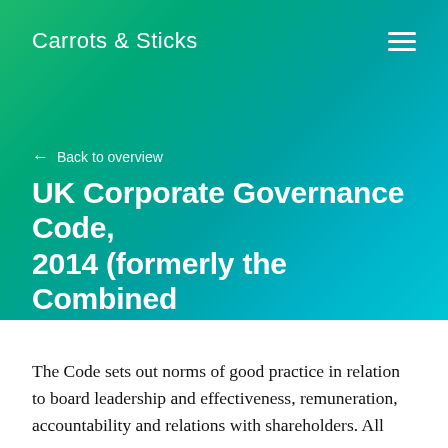Carrots & Sticks
← Back to overview
UK Corporate Governance Code, 2014 (formerly the Combined Code).
United Kingdom • Expired • 2014
The Code sets out norms of good practice in relation to board leadership and effectiveness, remuneration, accountability and relations with shareholders. All